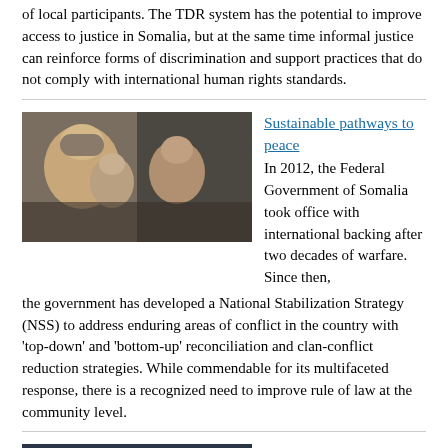of local participants. The TDR system has the potential to improve access to justice in Somalia, but at the same time informal justice can reinforce forms of discrimination and support practices that do not comply with international human rights standards.
[Figure (photo): Group of Somali men in discussion, one elder wearing a white garment and traditional head covering prominent in the foreground]
Sustainable pathways to peace
In 2012, the Federal Government of Somalia took office with international backing after two decades of warfare. Since then, the government has developed a National Stabilization Strategy (NSS) to address enduring areas of conflict in the country with 'top-down' and 'bottom-up' reconciliation and clan-conflict reduction strategies. While commendable for its multifaceted response, there is a recognized need to improve rule of law at the community level.
[Figure (photo): Aerial view of a Somali city with mosque minarets visible among densely packed buildings]
Enhancing the Capacity of Justice Institutions to Deliver Justice in Somalia
Lack of good governance and the rule of law are one of the most pressing problems confronting modern Somalia on its path towards stability and reconstruction. While there have been signs of progress, the absence of robust and competent institutions has...